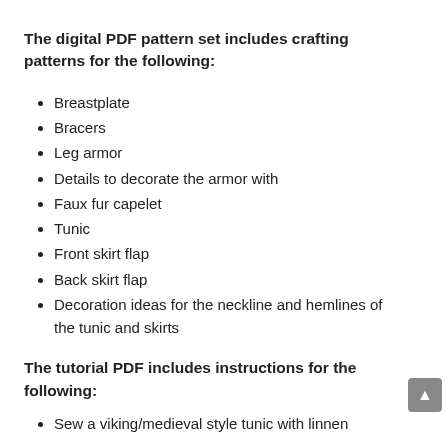The digital PDF pattern set includes crafting patterns for the following:
Breastplate
Bracers
Leg armor
Details to decorate the armor with
Faux fur capelet
Tunic
Front skirt flap
Back skirt flap
Decoration ideas for the neckline and hemlines of the tunic and skirts
The tutorial PDF includes instructions for the following:
Sew a viking/medieval style tunic with linnen